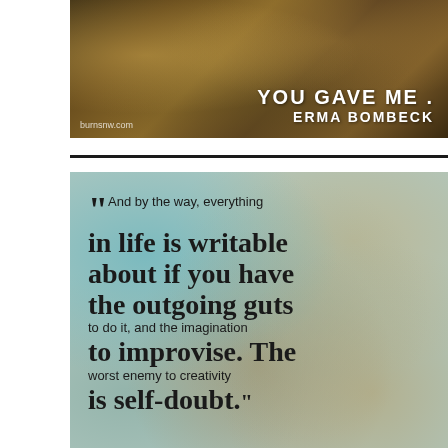[Figure (illustration): Motivational quote image with autumn/floral background showing partial text 'YOU GAVE ME' and attribution 'ERMA BOMBECK' with website burnsnw.com]
[Figure (illustration): Motivational quote image with blurred teal and beige background showing: '"And by the way, everything in life is writable about if you have the outgoing guts to do it, and the imagination to improvise. The worst enemy to creativity is self-doubt."']